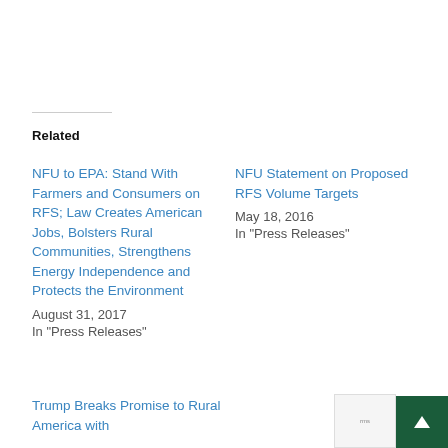Related
NFU to EPA: Stand With Farmers and Consumers on RFS; Law Creates American Jobs, Bolsters Rural Communities, Strengthens Energy Independence and Protects the Environment
August 31, 2017
In "Press Releases"
NFU Statement on Proposed RFS Volume Targets
May 18, 2016
In "Press Releases"
Trump Breaks Promise to Rural America with